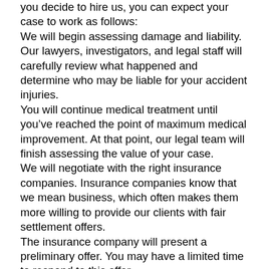you decide to hire us, you can expect your case to work as follows:
We will begin assessing damage and liability. Our lawyers, investigators, and legal staff will carefully review what happened and determine who may be liable for your accident injuries.
You will continue medical treatment until you’ve reached the point of maximum medical improvement. At that point, our legal team will finish assessing the value of your case.
We will negotiate with the right insurance companies. Insurance companies know that we mean business, which often makes them more willing to provide our clients with fair settlement offers.
The insurance company will present a preliminary offer. You may have a limited time to respond to this offer.
We will advise you about the benefits and costs of accepting the insurance offer or filing a lawsuit. If you reject the offer, then we will file a lawsuit on your behalf.
Legal discovery will occur. Interrogatories, depositions, and